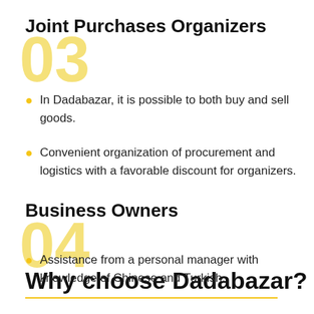Joint Purchases Organizers
In Dadabazar, it is possible to both buy and sell goods.
Convenient organization of procurement and logistics with a favorable discount for organizers.
Business Owners
Assistance from a personal manager with knowledge of Chinese and Turkish.
Why choose Dadabazar?